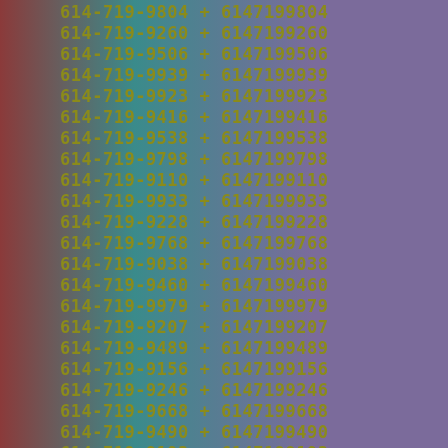614-719-9804  +  6147199804
614-719-9260  +  6147199260
614-719-9506  +  6147199506
614-719-9939  +  6147199939
614-719-9923  +  6147199923
614-719-9416  +  6147199416
614-719-9538  +  6147199538
614-719-9798  +  6147199798
614-719-9110  +  6147199110
614-719-9933  +  6147199933
614-719-9228  +  6147199228
614-719-9768  +  6147199768
614-719-9038  +  6147199038
614-719-9460  +  6147199460
614-719-9979  +  6147199979
614-719-9207  +  6147199207
614-719-9489  +  6147199489
614-719-9156  +  6147199156
614-719-9246  +  6147199246
614-719-9668  +  6147199668
614-719-9490  +  6147199490
614-719-9193  +  6147199193
614-719-9694  +  6147199694